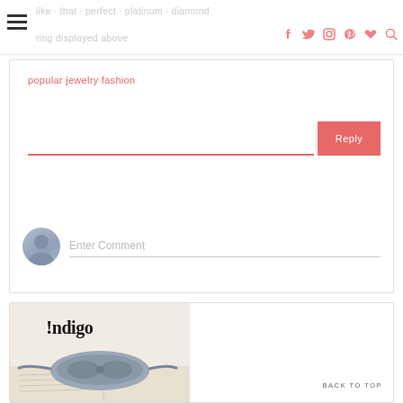like · that · perfect · platinum · diamond · ring displayed above
popular jewelry fashion
Reply
Enter Comment
[Figure (screenshot): Indigo brand advertisement showing a sleep mask on an open book, with !Indigo logo]
BACK TO TOP